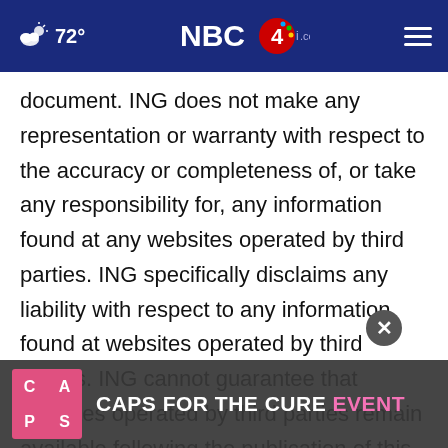72° NBC4i.com
document. ING does not make any representation or warranty with respect to the accuracy or completeness of, or take any responsibility for, any information found at any websites operated by third parties. ING specifically disclaims any liability with respect to any information found at websites operated by third parties. ING cannot guarantee that websites operated by third parties remain available following the publication of this document, or that any information found at such websites will not change following the filing of this document. Many
[Figure (screenshot): Advertisement overlay: CAPS FOR THE CURE EVENT with pink and white logo on dark background. A close button (X) appears above the ad.]